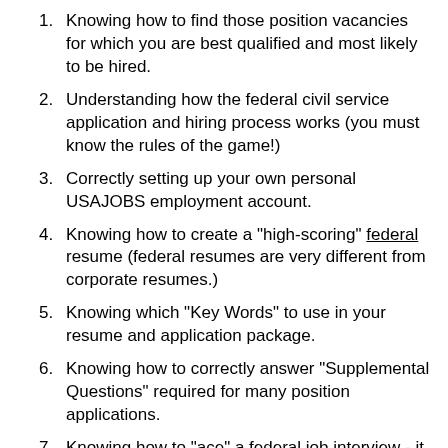Knowing how to find those position vacancies for which you are best qualified and most likely to be hired.
Understanding how the federal civil service application and hiring process works (you must know the rules of the game!)
Correctly setting up your own personal USAJOBS employment account.
Knowing how to create a "high-scoring" federal resume (federal resumes are very different from corporate resumes.)
Knowing which "Key Words" to use in your resume and application package.
Knowing how to correctly answer "Supplemental Questions" required for many position applications.
Knowing how to "ace" a federal job interview - it helps to know what to expect and how to...